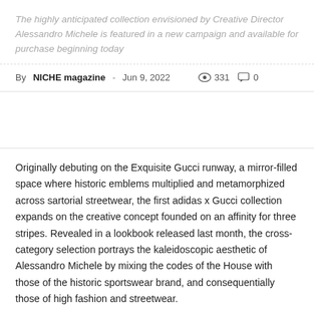The highly anticipated collection envisioned by Creative Director Alessandro Michele is featured in a new campaign and available for purchase beginning today
By NICHE magazine - Jun 9, 2022  331  0
Originally debuting on the Exquisite Gucci runway, a mirror-filled space where historic emblems multiplied and metamorphized across sartorial streetwear, the first adidas x Gucci collection expands on the creative concept founded on an affinity for three stripes. Revealed in a lookbook released last month, the cross-category selection portrays the kaleidoscopic aesthetic of Alessandro Michele by mixing the codes of the House with those of the historic sportswear brand, and consequentially those of high fashion and streetwear.